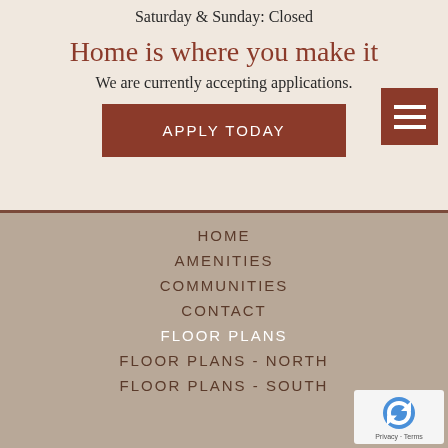Saturday & Sunday: Closed
Home is where you make it
We are currently accepting applications.
APPLY TODAY
HOME
AMENITIES
COMMUNITIES
CONTACT
FLOOR PLANS
FLOOR PLANS - NORTH
FLOOR PLANS - SOUTH